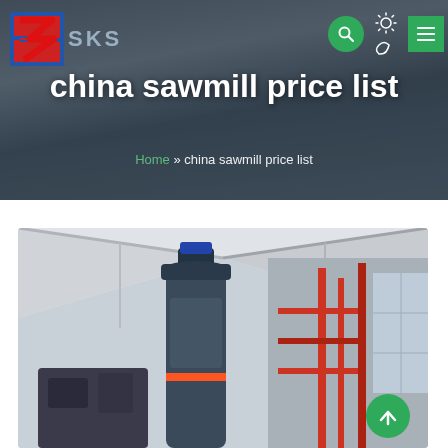[Figure (screenshot): SKS company website header with logo, search icon, theme toggle, and menu button on a dark industrial background]
china sawmill price list
Home » china sawmill price list
[Figure (photo): Industrial equipment inside a large warehouse/factory building with a cylindrical dark machine in the foreground and red steel structure in background]